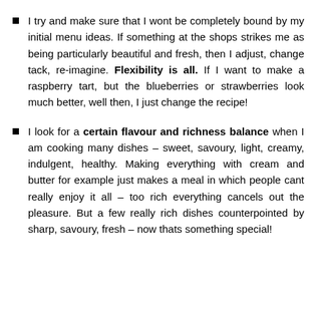I try and make sure that I wont be completely bound by my initial menu ideas. If something at the shops strikes me as being particularly beautiful and fresh, then I adjust, change tack, re-imagine. Flexibility is all. If I want to make a raspberry tart, but the blueberries or strawberries look much better, well then, I just change the recipe!
I look for a certain flavour and richness balance when I am cooking many dishes – sweet, savoury, light, creamy, indulgent, healthy. Making everything with cream and butter for example just makes a meal in which people cant really enjoy it all – too rich everything cancels out the pleasure. But a few really rich dishes counterpointed by sharp, savoury, fresh – now thats something special!